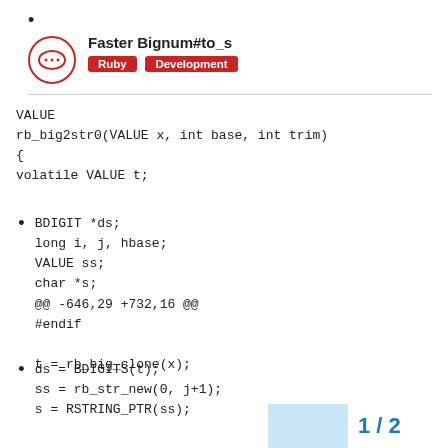•
Faster Bignum#to_s
Ruby
Development
VALUE
rb_big2str0(VALUE x, int base, int trim)
{
volatile VALUE t;
BDIGIT *ds;
long i, j, hbase;
VALUE ss;
char *s;
@@ -646,29 +732,16 @@
#endif

t = rb_big_clone(x);
ds = BDIGITS(t);
ss = rb_str_new(0, j+1);
s = RSTRING_PTR(ss);
1 / 2